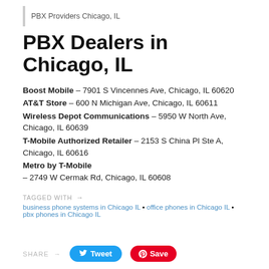PBX Providers Chicago, IL
PBX Dealers in Chicago, IL
Boost Mobile – 7901 S Vincennes Ave, Chicago, IL 60620
AT&T Store – 600 N Michigan Ave, Chicago, IL 60611
Wireless Depot Communications – 5950 W North Ave, Chicago, IL 60639
T-Mobile Authorized Retailer – 2153 S China Pl Ste A, Chicago, IL 60616
Metro by T-Mobile – 2749 W Cermak Rd, Chicago, IL 60608
TAGGED WITH → business phone systems in Chicago IL • office phones in Chicago IL • pbx phones in Chicago IL
SHARE → Tweet Save